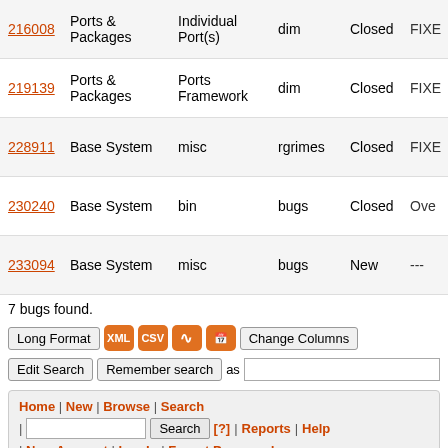| ID | Category | Subcategory | Assigned | Status | Resolution |
| --- | --- | --- | --- | --- | --- |
| 216008 | Ports & Packages | Individual Port(s) | dim | Closed | FIXE |
| 219139 | Ports & Packages | Ports Framework | dim | Closed | FIXE |
| 228911 | Base System | misc | rgrimes | Closed | FIXE |
| 230240 | Base System | bin | bugs | Closed | Ove |
| 233094 | Base System | misc | bugs | New | --- |
7 bugs found.
Long Format XML CSV RSS Calendar Change Columns
Edit Search | Remember search as
Home | New | Browse | Search | Search [?] | Reports | Help | New Account | Log In | Forgot Password